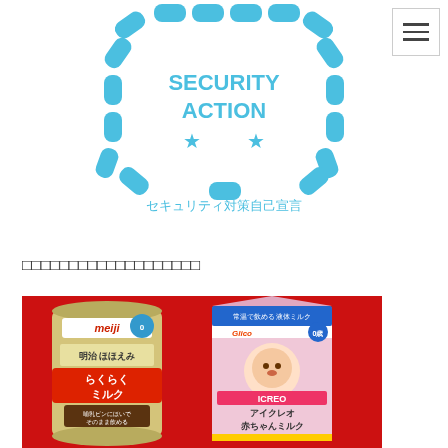[Figure (logo): Security Action logo — a chain-link shield shape in light blue with 'SECURITY ACTION' text and two stars, with Japanese text 'セキュリティ対策自己宣言' below]
□□□□□□□□□□□□□□□□□□□
[Figure (photo): Photo of two Japanese infant formula liquid milk products on a red background: Meiji Hohoemi Raku Raku Milk (can) and Glico ICREO Akachan Milk (carton)]